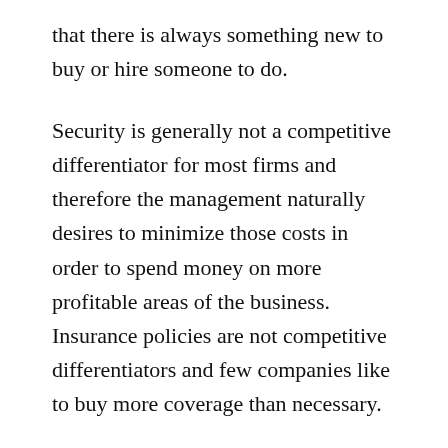that there is always something new to buy or hire someone to do.
Security is generally not a competitive differentiator for most firms and therefore the management naturally desires to minimize those costs in order to spend money on more profitable areas of the business.  Insurance policies are not competitive differentiators and few companies like to buy more coverage than necessary.
Insurance companies are in business to make money.  Companies wanting cyber insurance coverage will need to meet certain requirements set by insurers, and likely